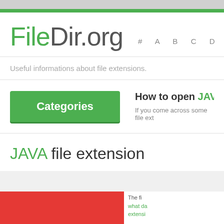FileDir.org   # A B C D E
Useful informations about file extensions.
Categories
How to open JAVA
If you come across some file ext...
JAVA file extension
The fi... what da... extensi...